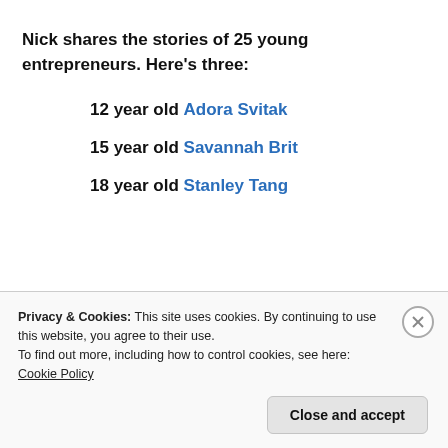Nick shares the stories of 25 young entrepreneurs. Here's three:
12 year old Adora Svitak
15 year old Savannah Brit
18 year old Stanley Tang
[Figure (photo): Website screenshot showing a 'Let’s get started' card with a photo of a person typing on a laptop]
Privacy & Cookies: This site uses cookies. By continuing to use this website, you agree to their use.
To find out more, including how to control cookies, see here: Cookie Policy